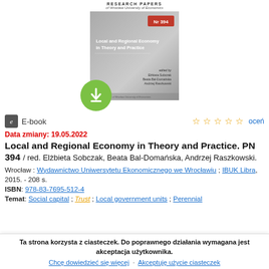RESEARCH PAPERS of Wroclaw University of Economics
[Figure (illustration): Book cover for 'Local and Regional Economy in Theory and Practice', Nr 394, edited by Elzbieta Sobczak, Beata Bal-Domanska, Andrzej Raszkowski. Gray cover with red badge. Download icon (green circle with down arrow) overlaid at bottom-left.]
E-book
oceń
Data zmiany: 19.05.2022
Local and Regional Economy in Theory and Practice. PN 394 / red. Elżbieta Sobczak, Beata Bal-Domańska, Andrzej Raszkowski.
Wrocław : Wydawnictwo Uniwersytetu Ekonomicznego we Wrocławiu ; IBUK Libra, 2015. - 208 s.
ISBN: 978-83-7695-512-4
Temat: Social capital ; Trust ; Local government units ; Perennial
Ta strona korzysta z ciasteczek. Do poprawnego działania wymagana jest akceptacja użytkownika.
Chcę dowiedzieć się więcej · Akceptuję użycie ciasteczek